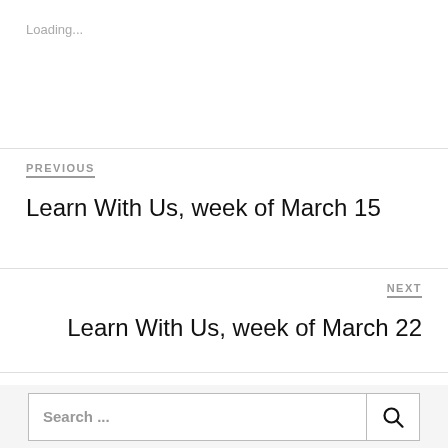Loading...
PREVIOUS
Learn With Us, week of March 15
NEXT
Learn With Us, week of March 22
Search ...